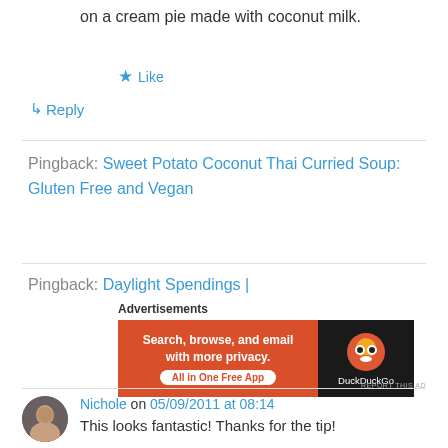on a cream pie made with coconut milk.
★ Like
↪ Reply
Pingback: Sweet Potato Coconut Thai Curried Soup: Gluten Free and Vegan
Pingback: Daylight Spendings |
[Figure (other): DuckDuckGo advertisement banner: Search, browse, and email with more privacy. All in One Free App.]
REPORT THIS AD
Nichole on 05/09/2011 at 08:14
This looks fantastic! Thanks for the tip!